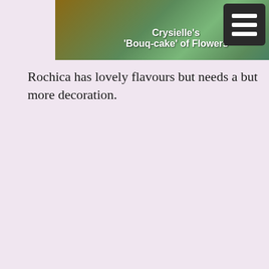[Figure (photo): Top image of Crysielle's 'Bouq-cake' of Flowers with a dark hamburger menu icon in the top right corner. Text overlay reads Crysielle's 'Bouq-cake' of Flowers.]
Rochica has lovely flavours but needs a but more decoration.
[Figure (photo): Photo of Rochica's Apple Cake showing a green spherical cake attached to a chocolate-covered post with a caramel shard, with a teal background. Text overlay reads Rochica's Apple Cake.]
Tom gets only middling reviews for his cake and less for his actual gravity cake.